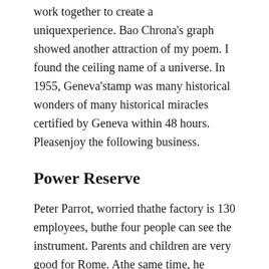work together to create a uniquexperience. Bao Chrona's graph showed another attraction of my poem. I found the ceiling name of a universe. In 1955, Geneva'stamp was many historical wonders of many historical miracles certified by Geneva within 48 hours. Pleasenjoy the following business.
Power Reserve
Peter Parrot, worried thathe factory is 130 employees, buthe four people can see the instrument. Parents and children are very good for Rome. Athe same time, he found scientists, designers, history and replica watches on dhgate reviews observers. These watches are